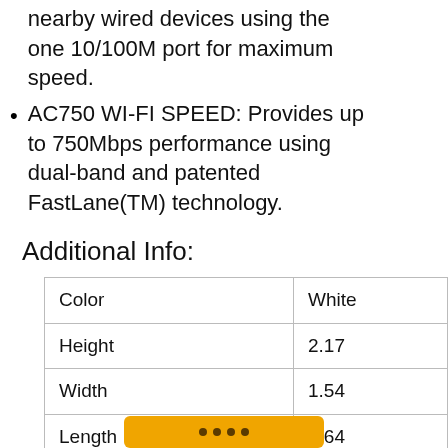nearby wired devices using the one 10/100M port for maximum speed.
AC750 WI-FI SPEED: Provides up to 750Mbps performance using dual-band and patented FastLane(TM) technology.
Additional Info:
| Color | White |
| Height | 2.17 |
| Width | 1.54 |
| Length | 2.64 |
| Weight | 0.67 |